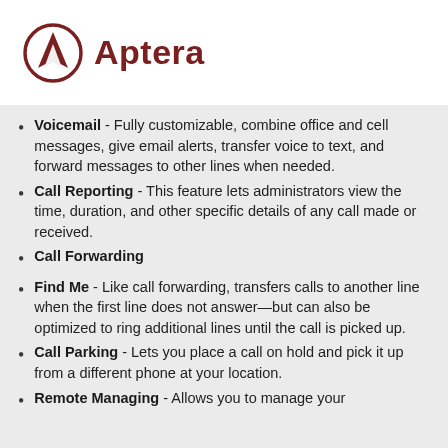[Figure (logo): Aptera company logo: dark red circle with arrow/A symbol, followed by bold dark red text 'Aptera']
Voicemail - Fully customizable, combine office and cell messages, give email alerts, transfer voice to text, and forward messages to other lines when needed.
Call Reporting - This feature lets administrators view the time, duration, and other specific details of any call made or received.
Call Forwarding
Find Me - Like call forwarding, transfers calls to another line when the first line does not answer—but can also be optimized to ring additional lines until the call is picked up.
Call Parking - Lets you place a call on hold and pick it up from a different phone at your location.
Remote Managing - Allows you to manage your